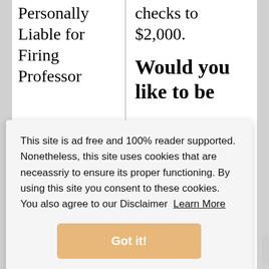Personally Liable for Firing Professor
checks to $2,000.
Would you like to be
This site is ad free and 100% reader supported. Nonetheless, this site uses cookies that are neceassriy to ensure its proper functioning. By using this site you consent to these cookies. You also agree to our Disclaimer Learn More
Got it!
Wharton:
$11,115